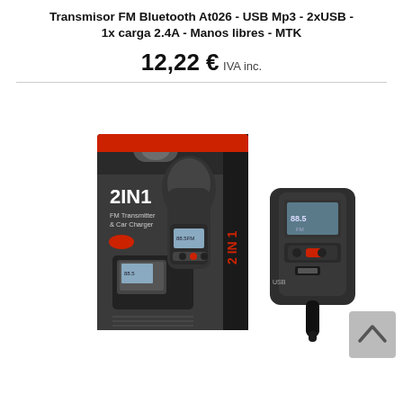Transmisor FM Bluetooth At026 - USB Mp3 - 2xUSB - 1x carga 2.4A - Manos libres - MTK
12,22 € IVA inc.
[Figure (photo): Product photo showing FM Bluetooth transmitter At026 box (labeled 2 IN 1 FM Transmitter & Car Charger) alongside the device itself plugged into a car charger port, on a white background.]